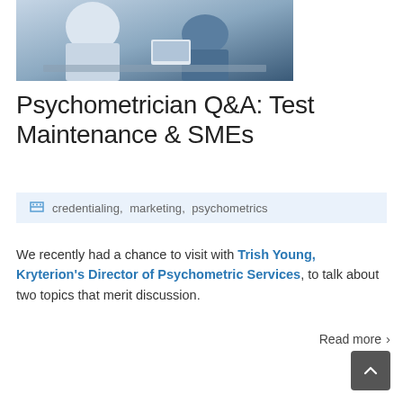[Figure (photo): Two people sitting at a table with laptops in a meeting or office setting, viewed from behind.]
Psychometrician Q&A: Test Maintenance & SMEs
credentialing,  marketing,  psychometrics
We recently had a chance to visit with Trish Young, Kryterion's Director of Psychometric Services, to talk about two topics that merit discussion.
Read more